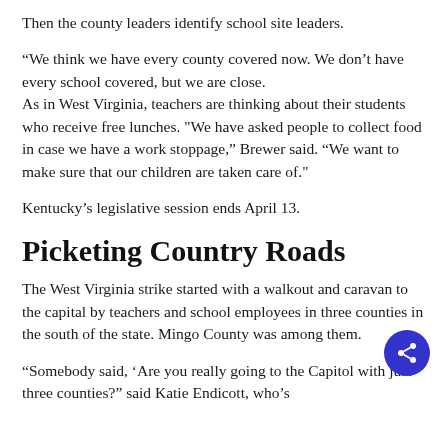Then the county leaders identify school site leaders.
“We think we have every county covered now. We don’t have every school covered, but we are close. As in West Virginia, teachers are thinking about their students who receive free lunches. "We have asked people to collect food in case we have a work stoppage,” Brewer said. “We want to make sure that our children are taken care of."
Kentucky’s legislative session ends April 13.
Picketing Country Roads
The West Virginia strike started with a walkout and caravan to the capital by teachers and school employees in three counties in the south of the state. Mingo County was among them.
“Somebody said, ‘Are you really going to the Capitol with just three counties?” said Katie Endicott, who’s